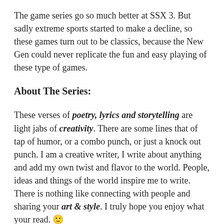The game series go so much better at SSX 3. But sadly extreme sports started to make a decline, so these games turn out to be classics, because the New Gen could never replicate the fun and easy playing of these type of games.
About The Series:
These verses of poetry, lyrics and storytelling are light jabs of creativity. There are some lines that of tap of humor, or a combo punch, or just a knock out punch. I am a creative writer, I write about anything and add my own twist and flavor to the world. People, ideas and things of the world inspire me to write. There is nothing like connecting with people and sharing your art & style. I truly hope you enjoy what your read. 🙂
If you liked this post, share with friends & others, and comment. (Thanks!)
Feel free to chat with me & connect: Instagram Facebook